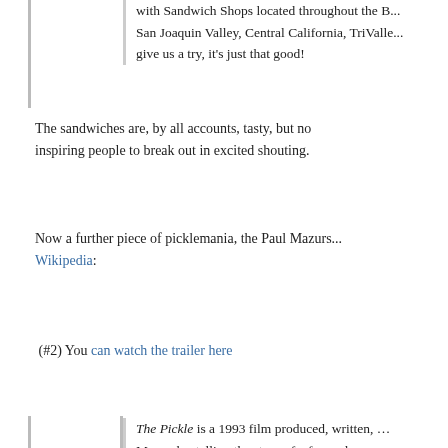with Sandwich Shops located throughout the B... San Joaquin Valley, Central California, TriValle... give us a try, it's just that good!
The sandwiches are, by all accounts, tasty, but not inspiring people to break out in excited shouting.
Now a further piece of picklemania, the Paul Mazurs... Wikipedia:
(#2) You can watch the trailer here
The Pickle is a 1993 film produced, written, ... Mazursky, telling the story of a formerly power... recent string of flops has forced him to make a ... is artistically uninspired. The absurdity of th... satirizes big-budget Hollywood pictures, while... serves as a character study of fictitious film dire...
Danny Aiello stars as Harry Stone, an NYC ... been living in Paris, France for the past ten y... that he still has a loyal fan base, his last three... he returns to New York to hear a pitch from a ... movie turns out to be The Pickle, a science ficti... storyline, but when the executive offers him "a... immediately sells out his better judgment and... picture.
The movie featured within the movie...